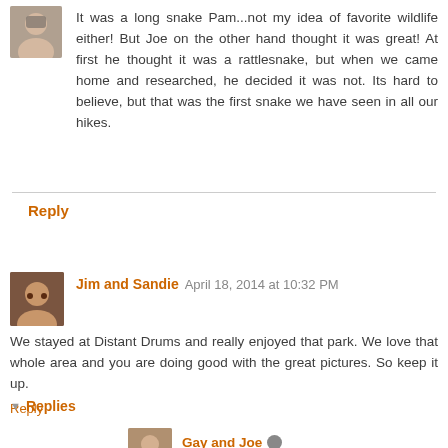It was a long snake Pam...not my idea of favorite wildlife either! But Joe on the other hand thought it was great! At first he thought it was a rattlesnake, but when we came home and researched, he decided it was not. Its hard to believe, but that was the first snake we have seen in all our hikes.
Reply
Jim and Sandie April 18, 2014 at 10:32 PM
We stayed at Distant Drums and really enjoyed that park. We love that whole area and you are doing good with the great pictures. So keep it up.
Reply
▼ Replies
Gay and Joe April 18, 2014 at 10:55 PM